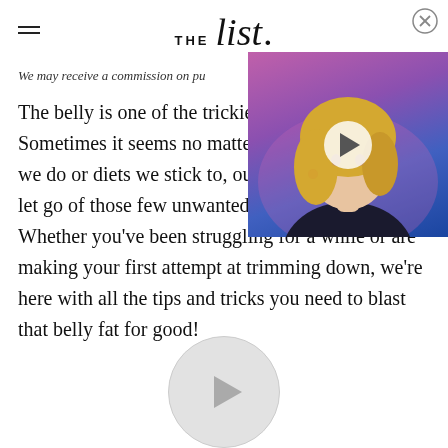THE list.
[Figure (photo): A blonde woman against a colorful purple/blue background with a video play button overlay]
We may receive a commission on purchases made from links.
The belly is one of the trickiest areas to slim down. Sometimes it seems no matter how many crunches we do or diets we stick to, our bellies don't want to let go of those few unwanted pounds of fat. Whether you've been struggling for a while or are making your first attempt at trimming down, we're here with all the tips and tricks you need to blast that belly fat for good!
[Figure (other): A circular video play button at the bottom of the page]